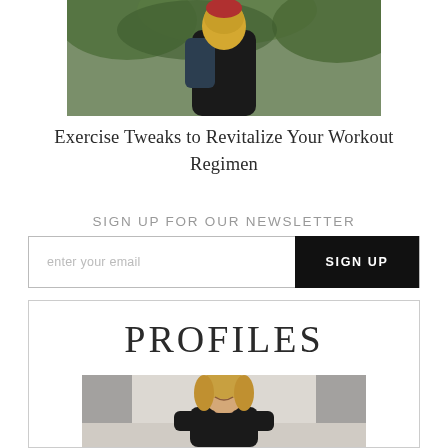[Figure (photo): Outdoor photo of a person with a backpack in a green forest setting]
Exercise Tweaks to Revitalize Your Workout Regimen
SIGN UP FOR OUR NEWSLETTER
enter your email   SIGN UP
PROFILES
[Figure (photo): Portrait photo of a blonde woman in a black top sitting on a couch, smiling]